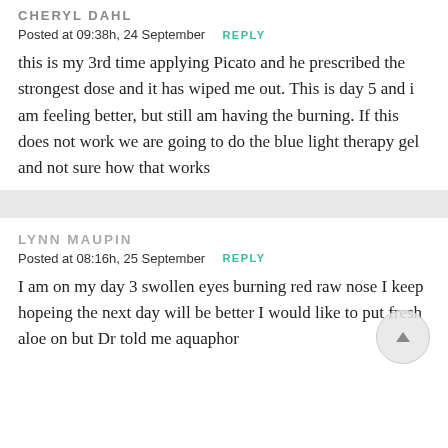CHERYL DAHL
Posted at 09:38h, 24 September  REPLY
this is my 3rd time applying Picato and he prescribed the strongest dose and it has wiped me out. This is day 5 and i am feeling better, but still am having the burning. If this does not work we are going to do the blue light therapy gel and not sure how that works
LYNN MAUPIN
Posted at 08:16h, 25 September  REPLY
I am on my day 3 swollen eyes burning red raw nose I keep hopeing the next day will be better I would like to put fresh aloe on but Dr told me aquaphor